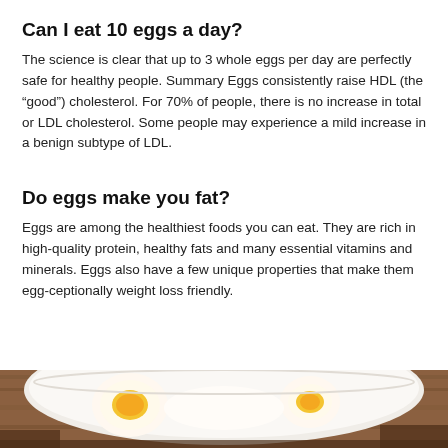Can I eat 10 eggs a day?
The science is clear that up to 3 whole eggs per day are perfectly safe for healthy people. Summary Eggs consistently raise HDL (the “good”) cholesterol. For 70% of people, there is no increase in total or LDL cholesterol. Some people may experience a mild increase in a benign subtype of LDL.
Do eggs make you fat?
Eggs are among the healthiest foods you can eat. They are rich in high-quality protein, healthy fats and many essential vitamins and minerals. Eggs also have a few unique properties that make them egg-ceptionally weight loss friendly.
[Figure (photo): Photo of eggs in a bowl or plate, partially visible at the bottom of the page]